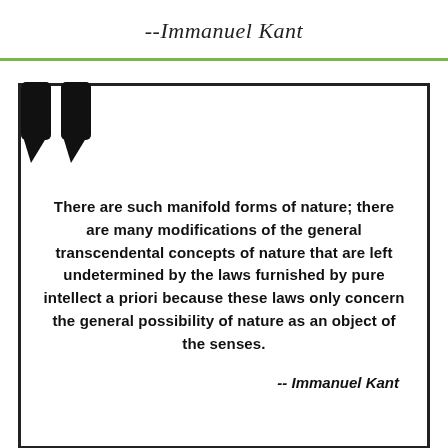--Immanuel Kant
[Figure (illustration): Decorative horizontal green rule divider]
There are such manifold forms of nature; there are many modifications of the general transcendental concepts of nature that are left undetermined by the laws furnished by pure intellect a priori because these laws only concern the general possibility of nature as an object of the senses.
-- Immanuel Kant